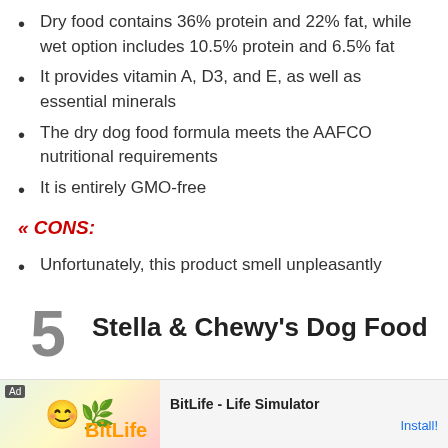Dry food contains 36% protein and 22% fat, while wet option includes 10.5% protein and 6.5% fat
It provides vitamin A, D3, and E, as well as essential minerals
The dry dog food formula meets the AAFCO nutritional requirements
It is entirely GMO-free
« CONS:
Unfortunately, this product smell unpleasantly
5  Stella & Chewy's Dog Food
[Figure (screenshot): Advertisement bar at the bottom showing BitLife - Life Simulator app ad with Install button]